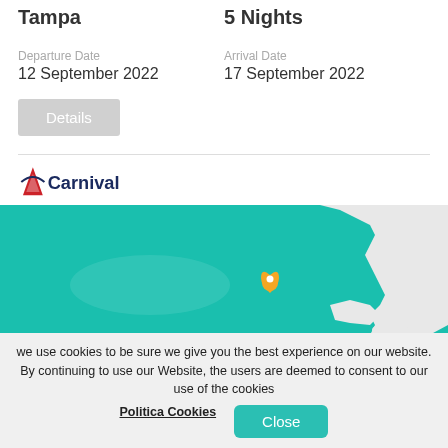Tampa
5 Nights
Departure Date
12 September 2022
Arrival Date
17 September 2022
[Figure (logo): Carnival cruise line logo with red sail icon and Carnival text]
[Figure (map): Map showing Florida coastline and Gulf of Mexico area with teal/turquoise water and a yellow location pin marker near Tampa]
we use cookies to be sure we give you the best experience on our website. By continuing to use our Website, the users are deemed to consent to our use of the cookies
Politica Cookies
Close